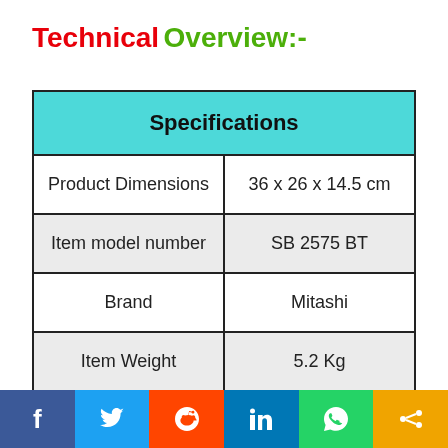Technical Overview:-
| Specifications |
| --- |
| Product Dimensions | 36 x 26 x 14.5 cm |
| Item model number | SB 2575 BT |
| Brand | Mitashi |
| Item Weight | 5.2 Kg |
[Figure (other): Social media sharing bar with icons for Facebook, Twitter, Reddit, LinkedIn, WhatsApp, and Share]